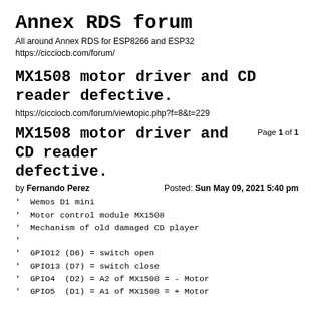Annex RDS forum
All around Annex RDS for ESP8266 and ESP32
https://cicciocb.com/forum/
MX1508 motor driver and CD reader defective.
https://cicciocb.com/forum/viewtopic.php?f=8&t=229
MX1508 motor driver and CD reader defective.
Page 1 of 1
by Fernando Perez
Posted: Sun May 09, 2021 5:40 pm
' Wemos D1 mini
'  Motor control module MX1508
'  Mechanism of old damaged CD player
'
'  GPIO12 (D6) = switch open
'  GPIO13 (D7) = switch close
'  GPIO4  (D2) = A2 of MX1508 = - Motor
'  GPIO5  (D1) = A1 of MX1508 = + Motor

pin.mode 12,INPUT
pin.mode 13,INPUT